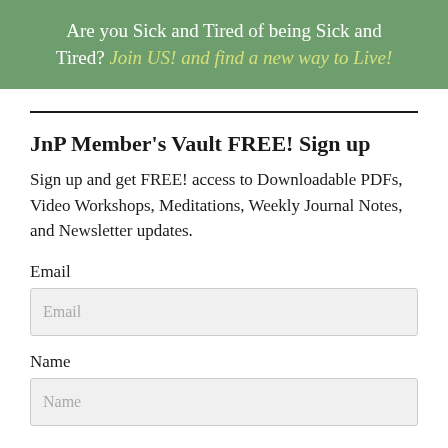Are you Sick and Tired of being Sick and Tired? Join US! and find a new way to Live!
JnP Member's Vault FREE! Sign up
Sign up and get FREE! access to Downloadable PDFs, Video Workshops, Meditations, Weekly Journal Notes, and Newsletter updates.
Email
Email
Name
Name